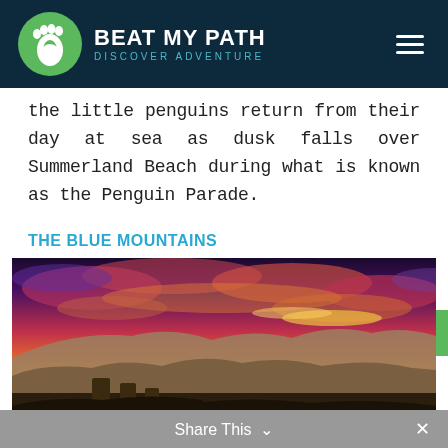[Figure (logo): Beat My Path logo: green circle with white footprint silhouette, text 'BEAT MY PATH' in white bold caps, tagline 'DISCOVER ADVENTURE' in teal caps, hamburger menu icon on right]
the little penguins return from their day at sea as dusk falls over Summerland Beach during what is known as the Penguin Parade.
THE BLUE MOUNTAINS
[Figure (photo): Dramatic sunset over the Blue Mountains, Australia. Vivid pink, orange and purple clouds over rocky mountain plateaus with Three Sisters rock formation visible in foreground.]
Share This ∨  ×